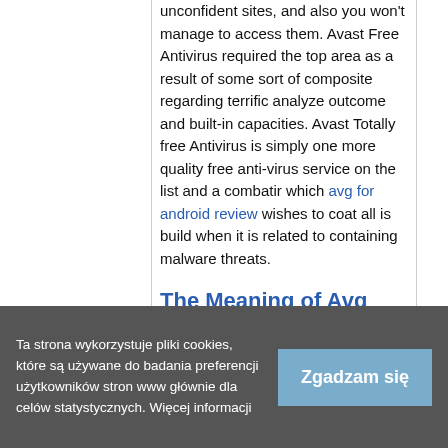unconfident sites, and also you won't manage to access them. Avast Free Antivirus required the top area as a result of some sort of composite regarding terrific analyze outcome and built-in capacities. Avast Totally free Antivirus is simply one more quality free anti-virus service on the list and a combatir which avg for android review wishes to coat all is build when it is related to containing malware threats.
The Meaning of Avg Antivirus 2019
Ta strona wykorzystuje pliki cookies, które są używane do badania preferencji użytkowników stron www głównie dla celów statystycznych. Więcej informacji